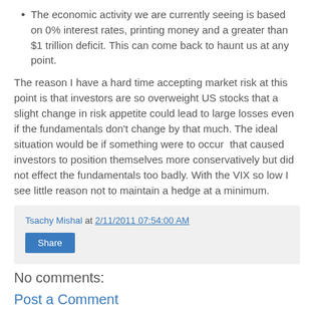The economic activity we are currently seeing is based on 0% interest rates, printing money and a greater than $1 trillion deficit. This can come back to haunt us at any point.
The reason I have a hard time accepting market risk at this point is that investors are so overweight US stocks that a slight change in risk appetite could lead to large losses even if the fundamentals don't change by that much. The ideal situation would be if something were to occur that caused investors to position themselves more conservatively but did not effect the fundamentals too badly. With the VIX so low I see little reason not to maintain a hedge at a minimum.
Tsachy Mishal at 2/11/2011 07:54:00 AM
No comments:
Post a Comment